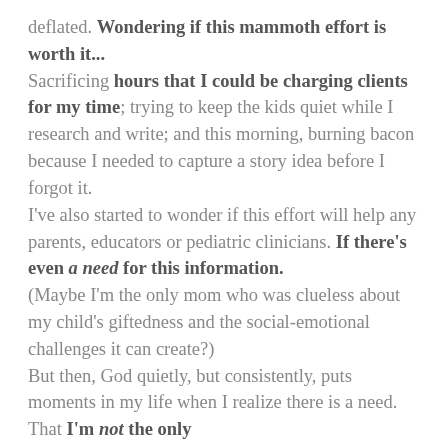deflated. Wondering if this mammoth effort is worth it...
Sacrificing hours that I could be charging clients for my time; trying to keep the kids quiet while I research and write; and this morning, burning bacon because I needed to capture a story idea before I forgot it.
I've also started to wonder if this effort will help any parents, educators or pediatric clinicians. If there's even a need for this information.
(Maybe I'm the only mom who was clueless about my child's giftedness and the social-emotional challenges it can create?)
But then, God quietly, but consistently, puts moments in my life when I realize there is a need. That I'm not the only